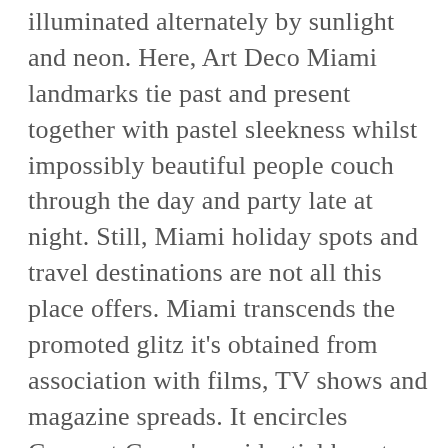illuminated alternately by sunlight and neon. Here, Art Deco Miami landmarks tie past and present together with pastel sleekness whilst impossibly beautiful people couch through the day and party late at night. Still, Miami holiday spots and travel destinations are not all this place offers. Miami transcends the promoted glitz it's obtained from association with films, TV shows and magazine spreads. It encircles Coconut Grove's residential beauty and excellent shopping (CocoWalk and the Streets of Mayfair attract people by droves) and Coral Gables winding roads, Mediterranean design and refined lifestyle. It reaches out to the quiet suburban domesticity of all South Dade using its parks, parks and